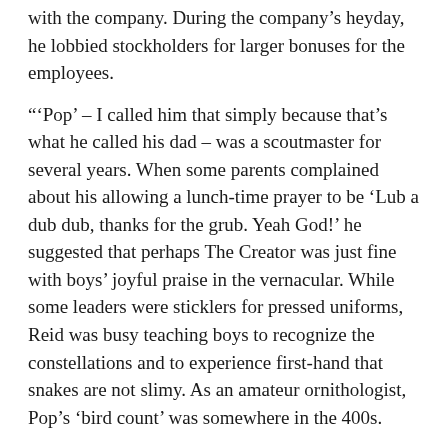with the company. During the company's heyday, he lobbied stockholders for larger bonuses for the employees.
“‘Pop’ – I called him that simply because that’s what he called his dad – was a scoutmaster for several years. When some parents complained about his allowing a lunch-time prayer to be ‘Lub a dub dub, thanks for the grub. Yeah God!’ he suggested that perhaps The Creator was just fine with boys’ joyful praise in the vernacular. While some leaders were sticklers for pressed uniforms, Reid was busy teaching boys to recognize the constellations and to experience first-hand that snakes are not slimy. As an amateur ornithologist, Pop’s ‘bird count’ was somewhere in the 400s.
ADVERTISEMENT
“During his adulthood, Pop’s family included a beloved mutt, Skippy, for 17 years, at least four raccoons, and several dozen snakes. As a child, he had a pet fox squirrel. He played in a poker group for several decades, and the stakes were